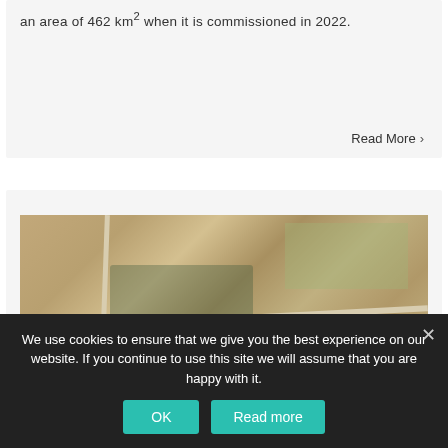an area of 462 km2 when it is commissioned in 2022.
Read More ›
[Figure (photo): Aerial photograph of agricultural fields and a small settlement with roads visible.]
We use cookies to ensure that we give you the best experience on our website. If you continue to use this site we will assume that you are happy with it.